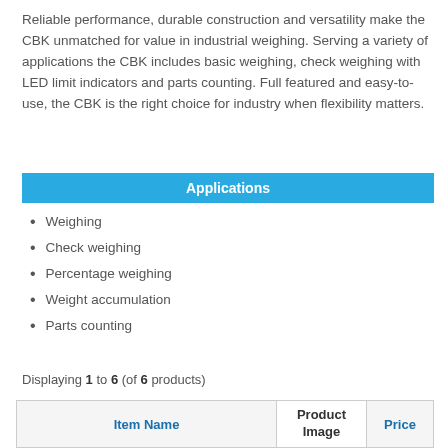Reliable performance, durable construction and versatility make the CBK unmatched for value in industrial weighing. Serving a variety of applications the CBK includes basic weighing, check weighing with LED limit indicators and parts counting. Full featured and easy-to-use, the CBK is the right choice for industry when flexibility matters.
Applications
Weighing
Check weighing
Percentage weighing
Weight accumulation
Parts counting
Displaying 1 to 6 (of 6 products)
| Item Name | Product Image | Price |
| --- | --- | --- |